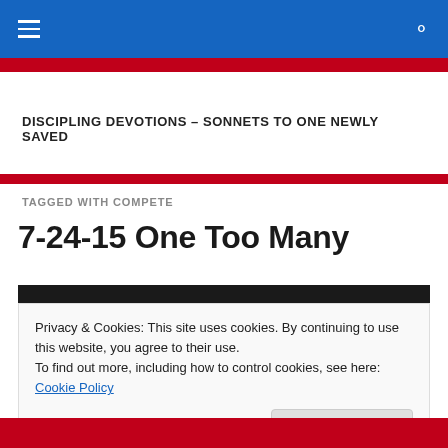DISCIPLING DEVOTIONS – SONNETS TO ONE NEWLY SAVED
TAGGED WITH COMPETE
7-24-15 One Too Many
[Figure (photo): Dark photographic strip at top of article]
Privacy & Cookies: This site uses cookies. By continuing to use this website, you agree to their use.
To find out more, including how to control cookies, see here: Cookie Policy
Close and accept